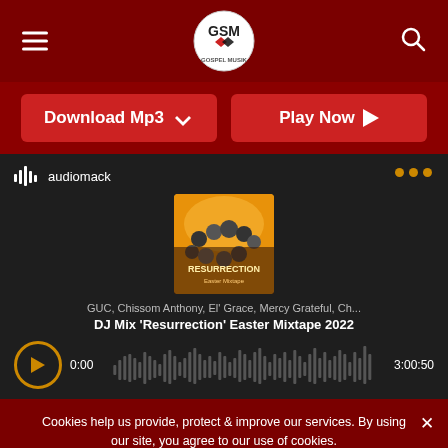Gospel Musik (GSM) website header with logo, hamburger menu, and search icon
[Figure (screenshot): Download Mp3 button with downward arrow and Play Now button with play arrow, both red rounded rectangles]
[Figure (screenshot): Audiomack embedded music player showing album art for 'DJ Mix Resurrection Easter Mixtape 2022' by GUC, Chissom Anthony, El Grace, Mercy Grateful, Ch... with play button and waveform progress bar showing 0:00 to 3:00:50]
Cookies help us provide, protect & improve our services. By using our site, you agree to our use of cookies.
Consent   Read more